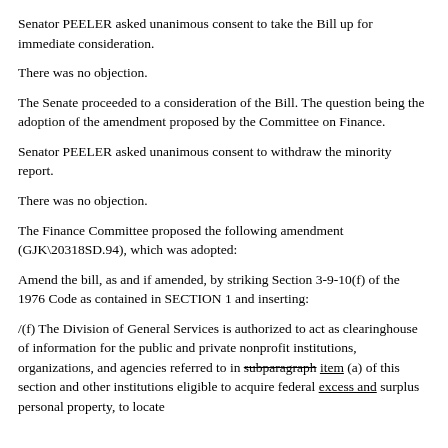Senator PEELER asked unanimous consent to take the Bill up for immediate consideration.
There was no objection.
The Senate proceeded to a consideration of the Bill. The question being the adoption of the amendment proposed by the Committee on Finance.
Senator PEELER asked unanimous consent to withdraw the minority report.
There was no objection.
The Finance Committee proposed the following amendment (GJK\20318SD.94), which was adopted:
Amend the bill, as and if amended, by striking Section 3-9-10(f) of the 1976 Code as contained in SECTION 1 and inserting:
/(f) The Division of General Services is authorized to act as clearinghouse of information for the public and private nonprofit institutions, organizations, and agencies referred to in subparagraph item (a) of this section and other institutions eligible to acquire federal excess and surplus personal property, to locate